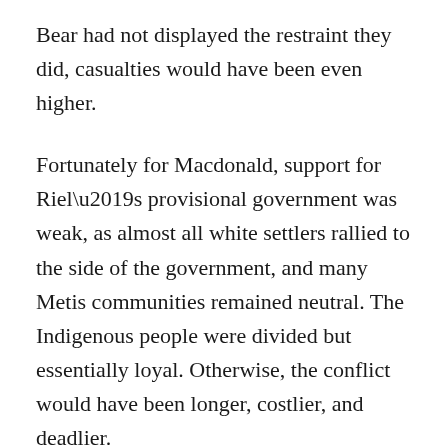Bear had not displayed the restraint they did, casualties would have been even higher.
Fortunately for Macdonald, support for Riel’s provisional government was weak, as almost all white settlers rallied to the side of the government, and many Metis communities remained neutral. The Indigenous people were divided but essentially loyal. Otherwise, the conflict would have been longer, costlier, and deadlier.
In spite of being grossly ill-prepared, the young dominion struggled through and survived. George Kinnaird perhaps best summed up the conduct of the campaign when he said, “In that campaign, we were the…